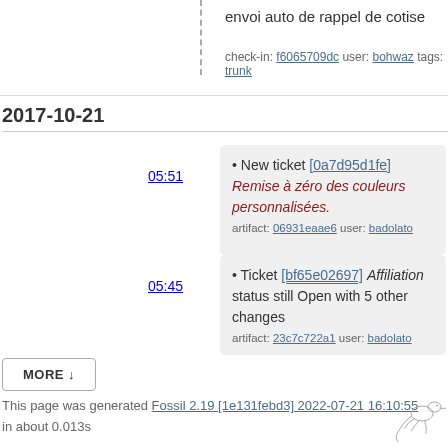envoi auto de rappel de cotise
check-in: f6065709dc user: bohwaz tags: trunk
2017-10-21
05:51
• New ticket [0a7d95d1fe] Remise à zéro des couleurs personnalisées.
artifact: 06931eaae6 user: badolato
05:45
• Ticket [bf65e02697] Affiliation status still Open with 5 other changes
artifact: 23c7c722a1 user: badolato
MORE ↓
This page was generated Fossil 2.19 [1e131febd3] 2022-07-21 16:10:55 in about 0.013s